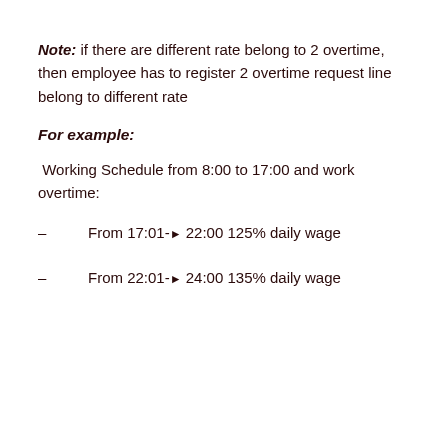Note: if there are different rate belong to 2 overtime, then employee has to register 2 overtime request line belong to different rate
For example:
Working Schedule from 8:00 to 17:00 and work overtime:
From 17:01-► 22:00 125% daily wage
From 22:01-► 24:00 135% daily wage